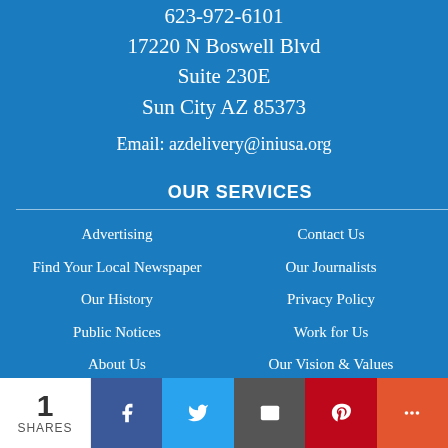623-972-6101
17220 N Boswell Blvd
Suite 230E
Sun City AZ 85373
Email: azdelivery@iniusa.org
OUR SERVICES
Advertising
Find Your Local Newspaper
Our History
Public Notices
About Us
Start a print subscription to the Daily Independent
Print With Us
Contact Us
Our Journalists
Privacy Policy
Work for Us
Our Vision & Values
Start a digital subscription to YourValley.net
OUR COMMUNITIES
1 SHARES